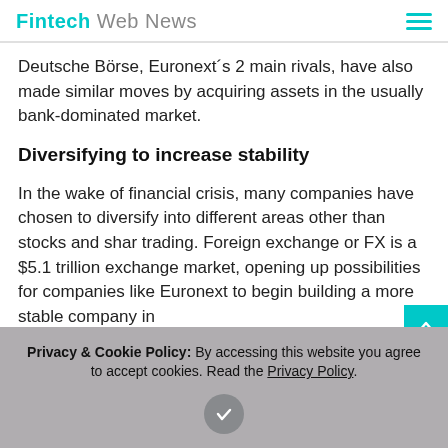Fintech Web News
Deutsche Börse, Euronext´s 2 main rivals, have also made similar moves by acquiring assets in the usually bank-dominated market.
Diversifying to increase stability
In the wake of financial crisis, many companies have chosen to diversify into different areas other than stocks and shar trading. Foreign exchange or FX is a $5.1 trillion exchange market, opening up possibilities for companies like Euronext to begin building a more stable company in
Privacy & Cookie Policy: By accessing this website you agree to accept cookies. Read the Privacy Policy.